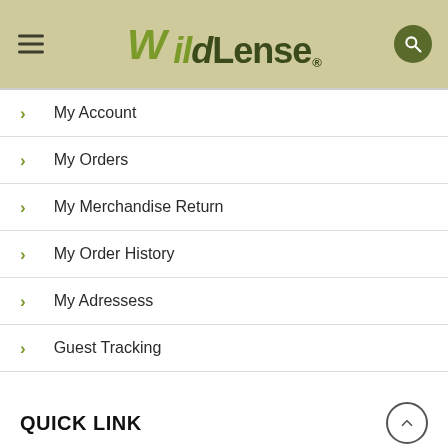WildLense
My Account
My Orders
My Merchandise Return
My Order History
My Adressess
Guest Tracking
QUICK LINK
...